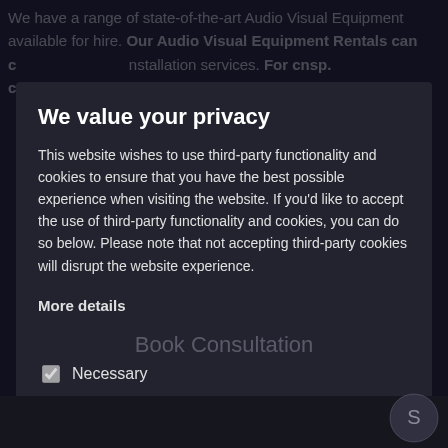[Figure (screenshot): Cookie consent modal dialog overlaid on a dark-themed website. The background shows blurred website text about Audio Visual Equipment Rentals. The modal has a dark background with a title 'We value your privacy', body text about third-party cookies, checkboxes for 'Necessary' and 'Third-party cookies', and two buttons: 'Accept selected' and 'Accept all'.]
We value your privacy
This website wishes to use third-party functionality and cookies to ensure that you have the best possible experience when visiting the website. If you'd like to accept the use of third-party functionality and cookies, you can do so below. Please note that not accepting third-party cookies will disrupt the website experience.
More details
Necessary
Third-party cookies
Accept selected
Accept all